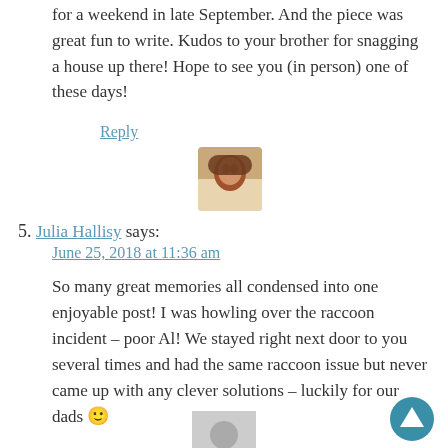for a weekend in late September. And the piece was great fun to write. Kudos to your brother for snagging a house up there! Hope to see you (in person) one of these days!
Reply
[Figure (photo): Small circular avatar photo of a woman with brown hair, outdoors]
5. Julia Hallisy says: June 25, 2018 at 11:36 am
So many great memories all condensed into one enjoyable post! I was howling over the raccoon incident – poor Al! We stayed right next door to you several times and had the same raccoon issue but never came up with any clever solutions – luckily for our dads 🙂
Reply
[Figure (photo): Small generic grey avatar silhouette placeholder image]